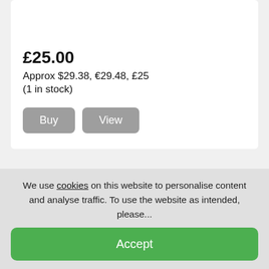£25.00
Approx $29.38, €29.48, £25
(1 in stock)
Buy   View
WW2 German Lehrbrief / Prüfungszeugnis
Apprenticeship Certificate
We use cookies on this website to personalise content and analyse traffic. To use the website as intended, please...
Accept